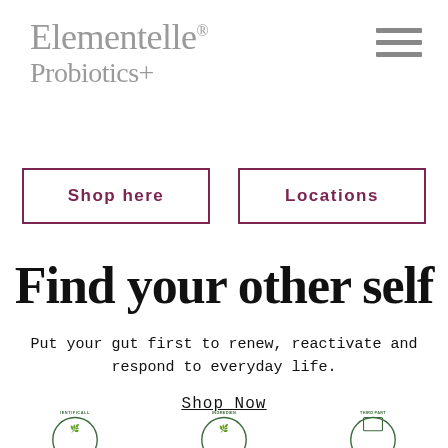Elementelle® Probiotics+
[Figure (logo): Hamburger menu icon (three horizontal lines) in top right corner]
Shop here
Locations
Find your other self
Put your gut first to renew, reactivate and respond to everyday life.
Shop Now
[Figure (logo): Three circular badge logos partially visible at the bottom: SCIENTIFICALLY, INGREDIENT, THIRD PARTY]